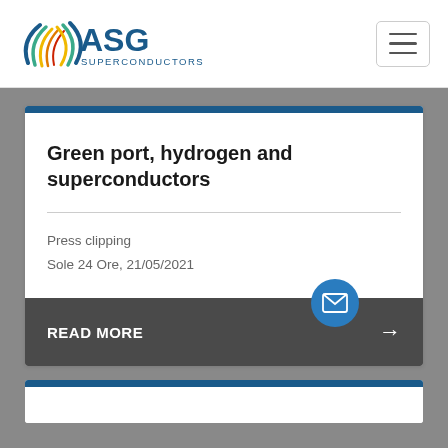[Figure (logo): ASG Superconductors logo with stylized arc/wave graphic in blue, red, orange, yellow and green, and text 'ASG SUPERCONDUCTORS' in dark blue]
Green port, hydrogen and superconductors
Press clipping
Sole 24 Ore, 21/05/2021
READ MORE